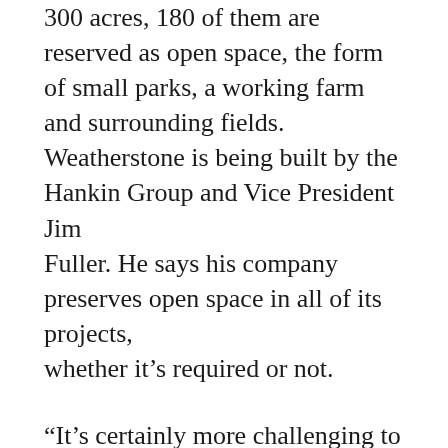300 acres, 180 of them are reserved as open space, the form of small parks, a working farm and surrounding fields. Weatherstone is being built by the Hankin Group and Vice President Jim Fuller. He says his company preserves open space in all of its projects, whether it's required or not.
“It’s certainly more challenging to try to get this kind of project approved, and more challenging to build it as well, but it’s definitely more rewarding.”
Fuller says conservation design builds the same number of homes as a traditional subdivision. But instead of spreading the